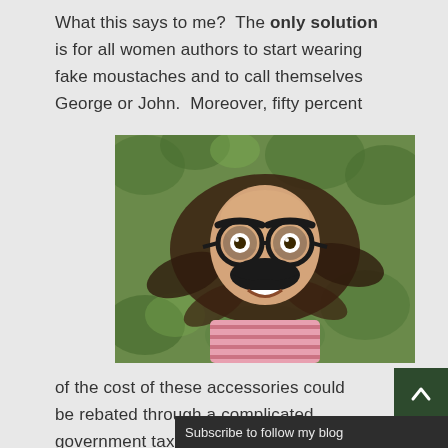What this says to me?  The only solution is for all women authors to start wearing fake moustaches and to call themselves George or John.  Moreover, fifty percent
[Figure (photo): Woman lying on grass wearing fake Groucho Marx glasses and moustache disguise, wearing a pink striped shirt, looking up at camera with wide expression]
of the cost of these accessories could be rebated through a complicated government tax scheme, for example, just to it make entirely clear that female authors weren't receiving unfettered assistance (or heaven for...
Subscribe to follow my blog